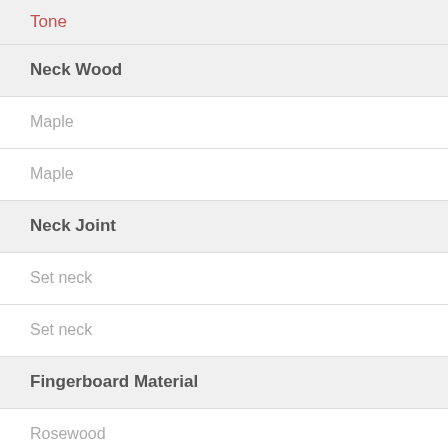| Tone |
| Neck Wood |
| Maple |
| Maple |
| Neck Joint |
| Set neck |
| Set neck |
| Fingerboard Material |
| Rosewood |
| Rosewood |